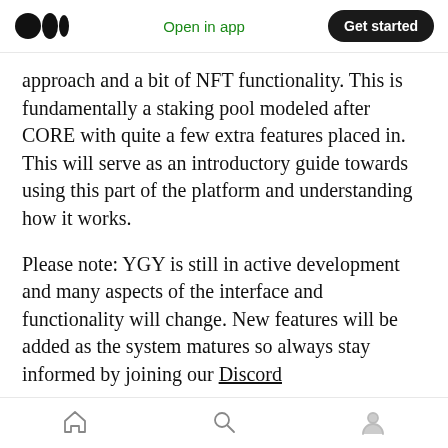Open in app | Get started
approach and a bit of NFT functionality. This is fundamentally a staking pool modeled after CORE with quite a few extra features placed in. This will serve as an introductory guide towards using this part of the platform and understanding how it works.
Please note: YGY is still in active development and many aspects of the interface and functionality will change. New features will be added as the system matures so always stay informed by joining our Discord
Home | Search | Profile